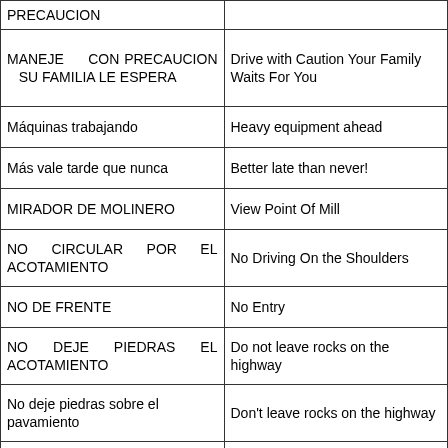| Spanish | English |
| --- | --- |
| PRECAUCION |  |
| MANEJE CON PRECAUCION SU FAMILIA LE ESPERA | Drive with Caution Your Family Waits For You |
| Máquinas trabajando | Heavy equipment ahead |
| Más vale tarde que nunca | Better late than never! |
| MIRADOR DE MOLINERO | View Point Of Mill |
| NO CIRCULAR POR EL ACOTAMIENTO | No Driving On the Shoulders |
| NO DE FRENTE | No Entry |
| NO DEJE PIEDRAS EL ACOTAMIENTO | Do not leave rocks on the highway |
| No deje piedras sobre el pavamiento | Don't leave rocks on the highway |
| NO DOBLE RODADO | No Trucks with Duals |
| No exceda los límites de velocidad | Don't exceed speed limits |
| NO ESTACIONARSE EN |  |